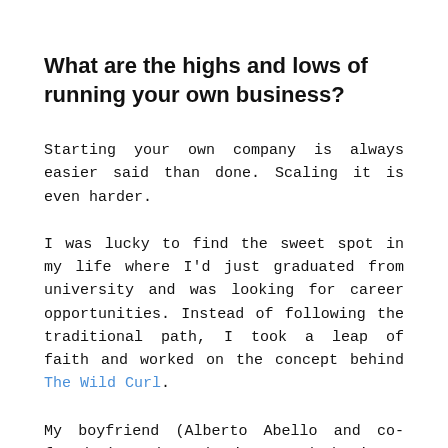What are the highs and lows of running your own business?
Starting your own company is always easier said than done. Scaling it is even harder.
I was lucky to find the sweet spot in my life where I'd just graduated from university and was looking for career opportunities. Instead of following the traditional path, I took a leap of faith and worked on the concept behind The Wild Curl.
My boyfriend (Alberto Abello and co-founder) and I brainstormed business models until we settled on creating The Wild Curl. This was where we believed we